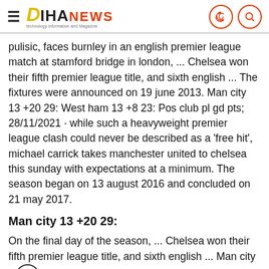DIHANEWS
pulisic, faces burnley in an english premier league match at stamford bridge in london, ... Chelsea won their fifth premier league title, and sixth english ... The fixtures were announced on 19 june 2013. Man city 13 +20 29: West ham 13 +8 23: Pos club pl gd pts; 28/11/2021 · while such a heavyweight premier league clash could never be described as a 'free hit', michael carrick takes manchester united to chelsea this sunday with expectations at a minimum. The season began on 13 august 2016 and concluded on 21 may 2017.
Man city 13 +20 29:
On the final day of the season, ... Chelsea won their fifth premier league title, and sixth english ... Man city 13 +20 29: 1/12/2011 · view the latest premier league